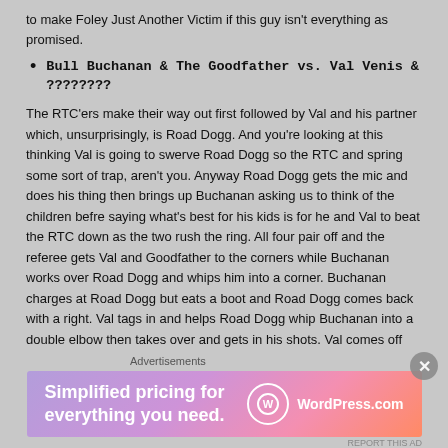to make Foley Just Another Victim if this guy isn't everything as promised.
Bull Buchanan & The Goodfather vs. Val Venis & ????????
The RTC'ers make their way out first followed by Val and his partner which, unsurprisingly, is Road Dogg. And you're looking at this thinking Val is going to swerve Road Dogg so the RTC and spring some sort of trap, aren't you. Anyway Road Dogg gets the mic and does his thing then brings up Buchanan asking us to think of the children befre saying what's best for his kids is for he and Val to beat the RTC down as the two rush the ring. All four pair off and the referee gets Val and Goodfather to the corners while Buchanan works over Road Dogg and whips him into a corner. Buchanan charges at Road Dogg but eats a boot and Road Dogg comes back with a right. Val tags in and helps Road Dogg whip Buchanan into a double elbow then takes over and gets in his shots. Val comes off the ropes but runs into a clothesline and Goodfather gets the tag but runs into a drop toehold. Val goes for a whip. Goodfather reverses and Buchanan nails Val from behind so
Advertisements
[Figure (other): WordPress.com advertisement banner: 'Simplified pricing for everything you need.' with WordPress.com logo]